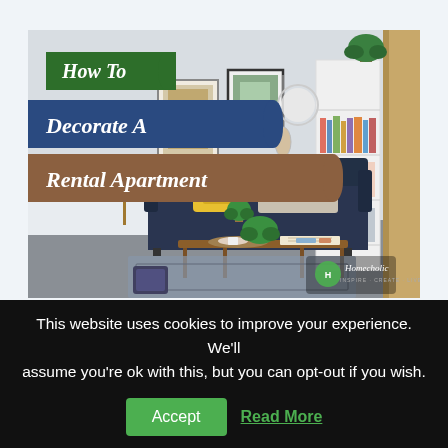[Figure (photo): Hero image of a stylishly decorated apartment living room with a dark navy sofa, wooden coffee table with a plant, artwork on walls, and a tall white bookshelf. Overlaid text banners read 'How To' (green), 'Decorate A' (navy blue), and 'Rental Apartment' (brown/tan). A small Homecholic logo appears in the bottom right corner of the image.]
How to Decorate a Rental
This website uses cookies to improve your experience. We'll assume you're ok with this, but you can opt-out if you wish.
Accept  Read More